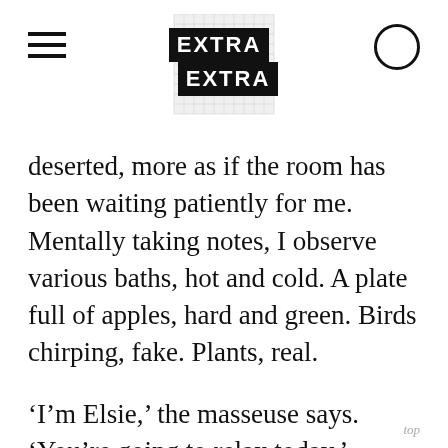[Figure (logo): Extra Extra magazine logo: two black rectangular banners with white bold text 'EXTRA' and 'EXTRA', overlaid on a grid/graph paper background square]
deserted, more as if the room has been waiting patiently for me. Mentally taking notes, I observe various baths, hot and cold. A plate full of apples, hard and green. Birds chirping, fake. Plants, real.
‘I’m Elsie,’ the masseuse says. ‘You’re going to relax today.’
‘Okay,’ I say.
top